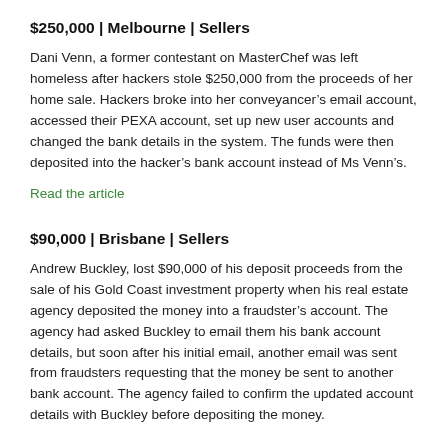$250,000 | Melbourne | Sellers
Dani Venn, a former contestant on MasterChef was left homeless after hackers stole $250,000 from the proceeds of her home sale. Hackers broke into her conveyancer’s email account, accessed their PEXA account, set up new user accounts and changed the bank details in the system. The funds were then deposited into the hacker’s bank account instead of Ms Venn’s.
Read the article
$90,000 | Brisbane | Sellers
Andrew Buckley, lost $90,000 of his deposit proceeds from the sale of his Gold Coast investment property when his real estate agency deposited the money into a fraudster’s account. The agency had asked Buckley to email them his bank account details, but soon after his initial email, another email was sent from fraudsters requesting that the money be sent to another bank account. The agency failed to confirm the updated account details with Buckley before depositing the money.